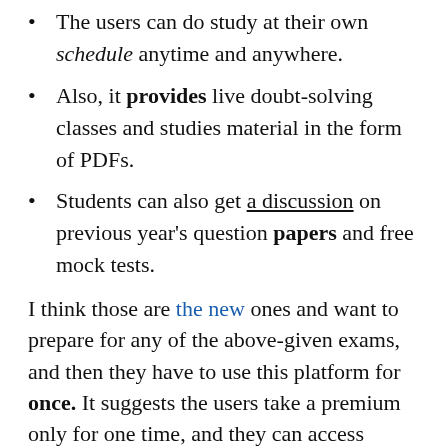The users can do study at their own schedule anytime and anywhere.
Also, it provides live doubt-solving classes and studies material in the form of PDFs.
Students can also get a discussion on previous year's question papers and free mock tests.
I think those are the new ones and want to prepare for any of the above-given exams, and then they have to use this platform for once. It suggests the users take a premium only for one time, and they can access unlimited time.
How to Join the Careerwill Platform?
STEP 1: Download the Careerwill directly from the